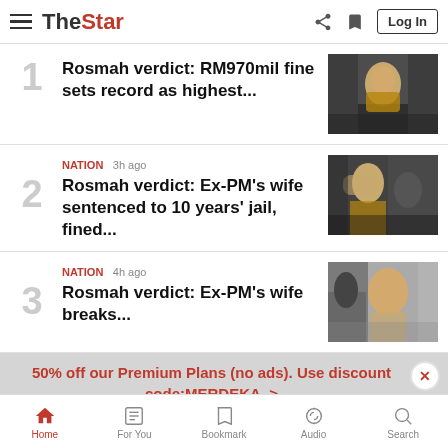The Star - Log In
1 - Rosmah verdict: RM970mil fine sets record as highest...
NATION 3h ago - 2 - Rosmah verdict: Ex-PM's wife sentenced to 10 years' jail, fined...
NATION 4h ago - 3 - Rosmah verdict: Ex-PM's wife breaks...
50% off our Premium Plans (no ads). Use discount code:MERDEKA. >
Home | For You | Bookmark | Audio | Search